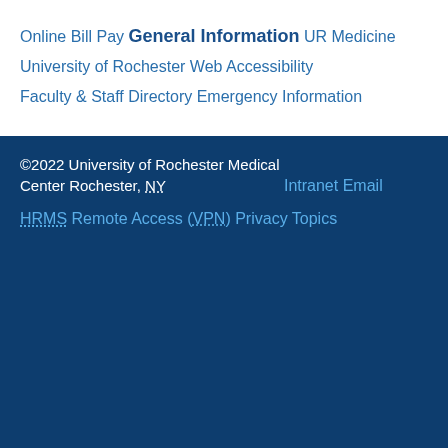Online Bill Pay
General Information
UR Medicine
University of Rochester
Web Accessibility
Faculty & Staff Directory
Emergency Information
©2022 University of Rochester Medical Center Rochester, NY
Intranet
Email
HRMS
Remote Access (VPN)
Privacy Topics